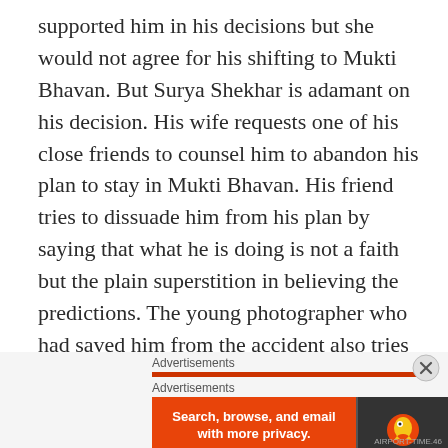supported him in his decisions but she would not agree for his shifting to Mukti Bhavan. But Surya Shekhar is adamant on his decision. His wife requests one of his close friends to counsel him to abandon his plan to stay in Mukti Bhavan. His friend tries to dissuade him from his plan by saying that what he is doing is not a faith but the plain superstition in believing the predictions. The young photographer who had saved him from the accident also tries to convince him by saying that astrology is not a science and no one can predict the future. But Surya Shekhar ends the debate by saying that Varanasi is his life's last halting station.
[Figure (screenshot): Advertisements label with orange bar, second Advertisements label, and a DuckDuckGo banner ad with text 'Search, browse, and email with more privacy. All in One Free App' and DuckDuckGo logo on dark background. A close (X) button is visible top right.]